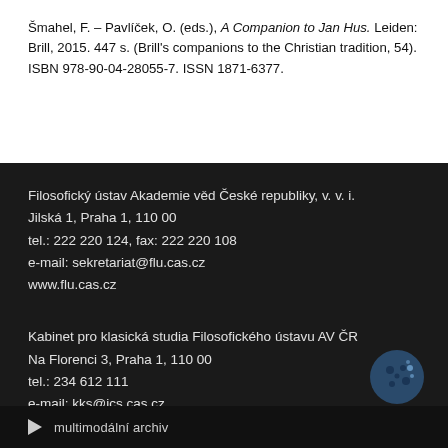Šmahel, F. – Pavlíček, O. (eds.), A Companion to Jan Hus. Leiden: Brill, 2015. 447 s. (Brill's companions to the Christian tradition, 54). ISBN 978-90-04-28055-7. ISSN 1871-6377.
Filosofický ústav Akademie věd České republiky, v. v. i.
Jilská 1, Praha 1, 110 00
tel.: 222 220 124, fax: 222 220 108
e-mail: sekretariat@flu.cas.cz
www.flu.cas.cz
Kabinet pro klasická studia Filosofického ústavu AV ČR
Na Florenci 3, Praha 1, 110 00
tel.: 234 612 111
e-mail: kks@ics.cas.cz
www.ics.cas.cz
multimodální archiv